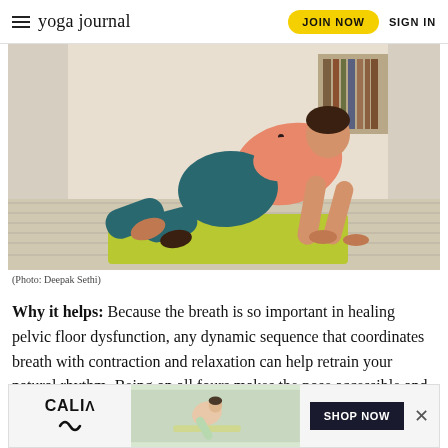yoga journal  JOIN NOW  SIGN IN
[Figure (photo): Woman in coral top and teal yoga pants in a tabletop/all-fours pose on a green yoga mat on a patterned floor, indoor setting with curtains and bookshelf in background.]
(Photo: Deepak Sethi)
Why it helps: Because the breath is so important in healing pelvic floor dysfunction, any dynamic sequence that coordinates breath with contraction and relaxation can help retrain your natural rhythm. Being on all fours makes the pose accessible and provides an orientation that helps core stability since y…
[Figure (photo): CALIA brand advertisement banner with woman doing yoga pose, SHOP NOW button.]